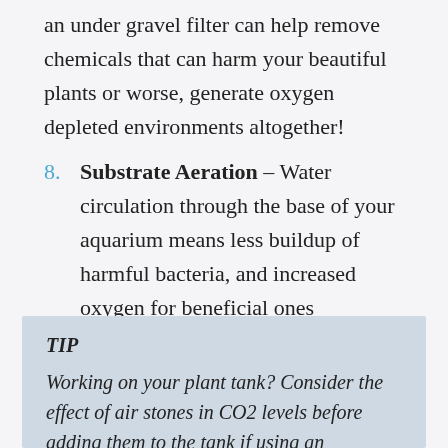an under gravel filter can help remove chemicals that can harm your beautiful plants or worse, generate oxygen depleted environments altogether!
8. Substrate Aeration – Water circulation through the base of your aquarium means less buildup of harmful bacteria, and increased oxygen for beneficial ones
TIP
Working on your plant tank? Consider the effect of air stones in CO2 levels before adding them to the tank if using an additional